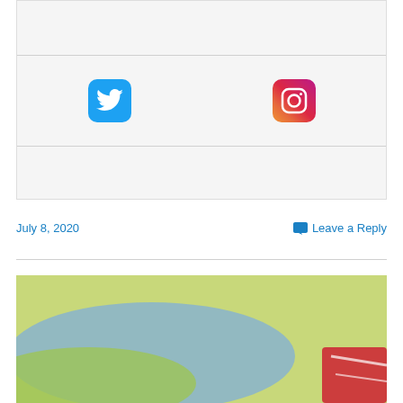[Figure (other): Social media widget panel with Twitter and Instagram icons on a light gray background with horizontal divider lines]
July 8, 2020
Leave a Reply
[Figure (photo): Blurred outdoor photo with green and blue tones, partial red element at bottom right corner]